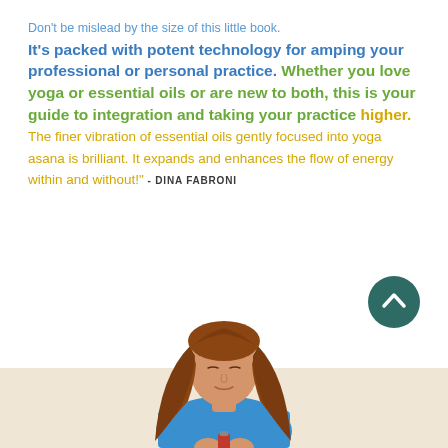Don't be mislead by the size of this little book. It's packed with potent technology for amping your professional or personal practice. Whether you love yoga or essential oils or are new to both, this is your guide to integration and taking your practice higher. The finer vibration of essential oils gently focused into yoga asana is brilliant. It expands and enhances the flow of energy within and without!" - DINA FABRONI
[Figure (photo): A woman with long auburn hair, eyes closed, sitting in a meditative yoga pose wearing a blue top, holding a small bottle. Background fades from white to a warm beige at the bottom. A dark teal circle with an upward chevron arrow appears in the lower right.]